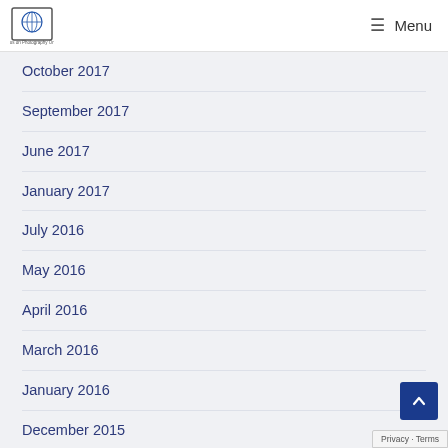Focus on Photography Online — Menu
October 2017
September 2017
June 2017
January 2017
July 2016
May 2016
April 2016
March 2016
January 2016
December 2015
Privacy · Terms